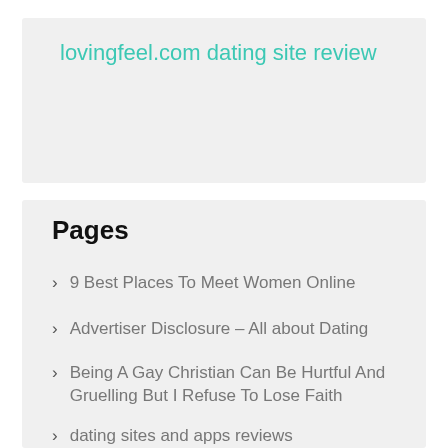lovingfeel.com dating site review
Pages
9 Best Places To Meet Women Online
Advertiser Disclosure – All about Dating
Being A Gay Christian Can Be Hurtful And Gruelling But I Refuse To Lose Faith
dating sites and apps reviews